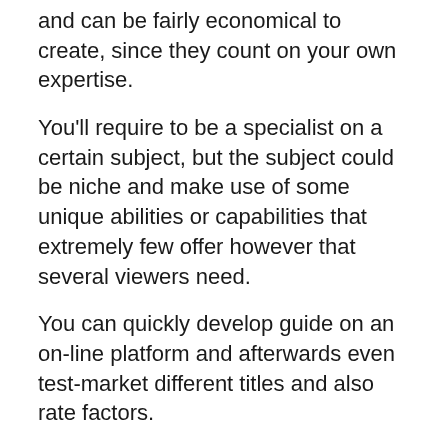and can be fairly economical to create, since they count on your own expertise.
You'll require to be a specialist on a certain subject, but the subject could be niche and make use of some unique abilities or capabilities that extremely few offer however that several viewers need.
You can quickly develop guide on an on-line platform and afterwards even test-market different titles and also rate factors.
Simply like with making a training course, a great deal of the worth comes when you include more e-books to the mix, drawing in more customers to your web content.